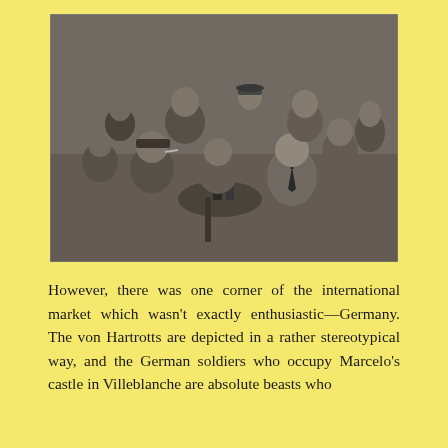[Figure (photo): Black and white photograph of a group of people gathered around a small round café table. Several men and women in early 20th century clothing are posing together, some seated and some standing. A man in a cap smokes a cigarette, while a smiling young man in a tie sits at the right. Drinks are visible on the table.]
However, there was one corner of the international market which wasn't exactly enthusiastic—Germany. The von Hartrotts are depicted in a rather stereotypical way, and the German soldiers who occupy Marcelo's castle in Villeblanche are absolute beasts who